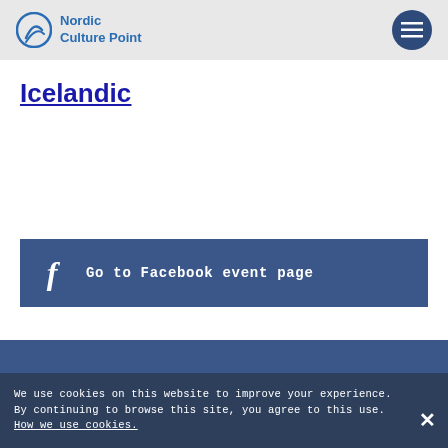Nordic Culture Point
Icelandic
[Figure (other): Facebook event page button with Facebook 'f' icon and text 'Go to Facebook event page']
We use cookies on this website to improve your experience. By continuing to browse this site, you agree to this use. How we use cookies.